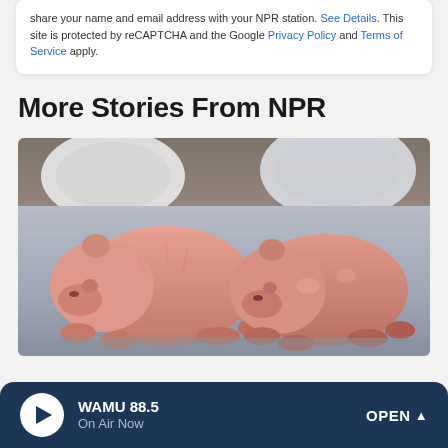share your name and email address with your NPR station. See Details. This site is protected by reCAPTCHA and the Google Privacy Policy and Terms of Service apply.
More Stories From NPR
[Figure (photo): Two newborn baby giant pandas lying on a blue-gray blanket, pink-skinned with sparse white fur, with white medical bowls/containers visible in the background.]
WAMU 88.5 On Air Now OPEN